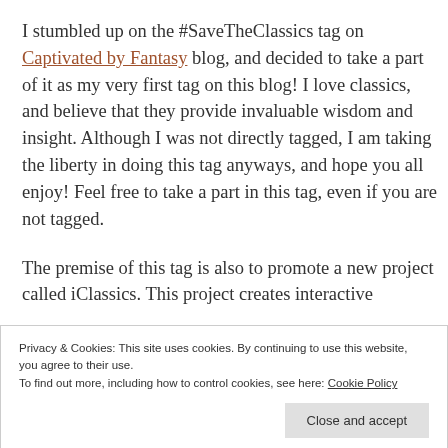I stumbled up on the #SaveTheClassics tag on Captivated by Fantasy blog, and decided to take a part of it as my very first tag on this blog! I love classics, and believe that they provide invaluable wisdom and insight. Although I was not directly tagged, I am taking the liberty in doing this tag anyways, and hope you all enjoy! Feel free to take a part in this tag, even if you are not tagged.
The premise of this tag is also to promote a new project called iClassics. This project creates interactive
Privacy & Cookies: This site uses cookies. By continuing to use this website, you agree to their use.
To find out more, including how to control cookies, see here: Cookie Policy
Close and accept